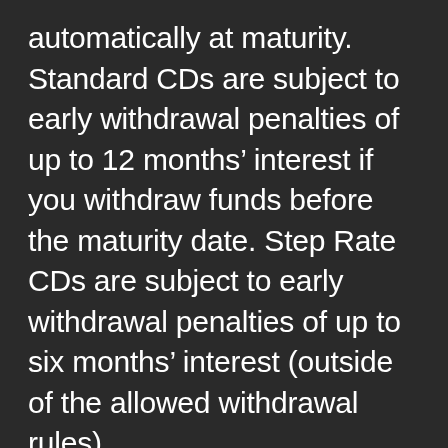automatically at maturity. Standard CDs are subject to early withdrawal penalties of up to 12 months’ interest if you withdraw funds before the maturity date. Step Rate CDs are subject to early withdrawal penalties of up to six months’ interest (outside of the allowed withdrawal rules).
Here are Wells Fargo’s rates for its Standard CDs across all